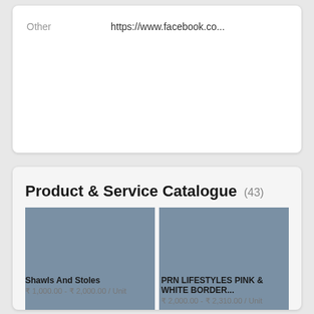Other	https://www.facebook.co...
Product & Service Catalogue (43)
[Figure (screenshot): Two product image placeholders in steel blue/grey color. Right image has an orange 'GET STARTED FOR FREE' button overlay.]
[Figure (infographic): Popup banner: View Jaikrishnan Nair's complete profile. Access 300,000+ businesses in under 2 mins. Join the largest SME community for free. Has avatar placeholder and close X button.]
Shawls And Stoles
₹ 1,000.00 - ₹ 2,000.00 / Unit
PRN LIFESTYLES PINK & WHITE BORDER...
₹ 2,000.00 - ₹ 2,310.00 / Unit